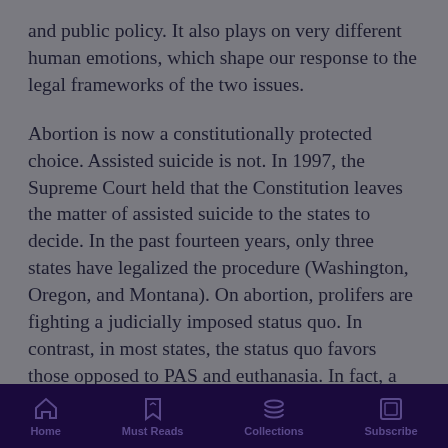and public policy. It also plays on very different human emotions, which shape our response to the legal frameworks of the two issues.

Abortion is now a constitutionally protected choice. Assisted suicide is not. In 1997, the Supreme Court held that the Constitution leaves the matter of assisted suicide to the states to decide. In the past fourteen years, only three states have legalized the procedure (Washington, Oregon, and Montana). On abortion, prolifers are fighting a judicially imposed status quo. In contrast, in most states, the status quo favors those opposed to PAS and euthanasia. In fact, a review of older Gallup polls shows that opposition to assisted dying has actually grown over the past decade. In this context, a scorched-earth culture-war
Home | Must Reads | Collections | Subscribe